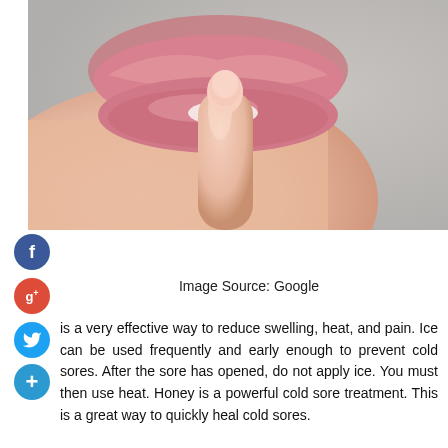[Figure (photo): Close-up photo of a person applying cream or ointment to their lips with one finger, suggesting a cold sore treatment application.]
Image Source: Google
is a very effective way to reduce swelling, heat, and pain. Ice can be used frequently and early enough to prevent cold sores. After the sore has opened, do not apply ice. You must then use heat. Honey is a powerful cold sore treatment. This is a great way to quickly heal cold sores.